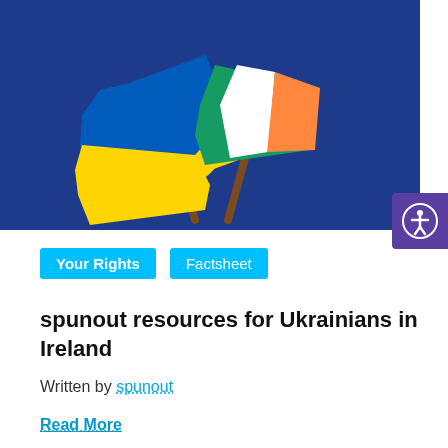[Figure (illustration): Two crossed flags — Ukrainian flag (blue and yellow) on the left and Irish flag (green, white, orange) on the right — against a dark navy blue background.]
Your Rights
Factsheet
spunout resources for Ukrainians in Ireland
Written by spunout
Read More